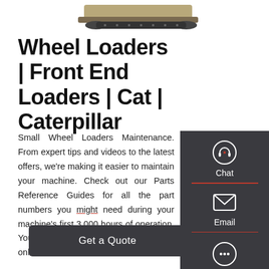[Figure (photo): Caterpillar machine / equipment partially visible at top of page]
Wheel Loaders | Front End Loaders | Cat | Caterpillar
Small Wheel Loaders Maintenance. From expert tips and videos to the latest offers, we're making it easier to maintain your machine. Check out our Parts Reference Guides for all the part numbers you might need during your machine's first 3,000 hours of operation. You can even browse and buy right online.
[Figure (screenshot): Side contact panel with Chat (headset icon), Email (envelope icon), and Contact (speech bubble icon) options on dark grey background]
[Figure (other): Get a Quote button - dark grey rounded rectangle button]